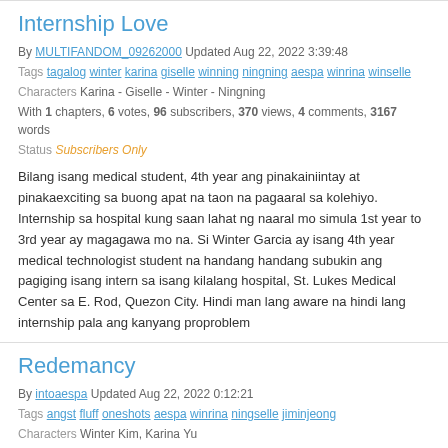Internship Love
By MULTIFANDOM_09262000 Updated Aug 22, 2022 3:39:48
Tags tagalog winter karina giselle winning ningning aespa winrina winselle
Characters Karina - Giselle - Winter - Ningning
With 1 chapters, 6 votes, 96 subscribers, 370 views, 4 comments, 3167 words
Status Subscribers Only
Bilang isang medical student, 4th year ang pinakainiintay at pinakaexciting sa buong apat na taon na pagaaral sa kolehiyo. Internship sa hospital kung saan lahat ng naaral mo simula 1st year to 3rd year ay magagawa mo na. Si Winter Garcia ay isang 4th year medical technologist student na handang handang subukin ang pagiging isang intern sa isang kilalang hospital, St. Lukes Medical Center sa E. Rod, Quezon City. Hindi man lang aware na hindi lang internship pala ang kanyang proproblem
Redemancy
By intoaespa Updated Aug 22, 2022 0:12:21
Tags angst fluff oneshots aespa winrina ningselle jiminjeong
Characters Winter Kim, Karina Yu
With 4 chapters, 7 votes, 87 subscribers, 1250 views, 17 comments, 3682 words
A compilation of winrina/jiminjeong shots.